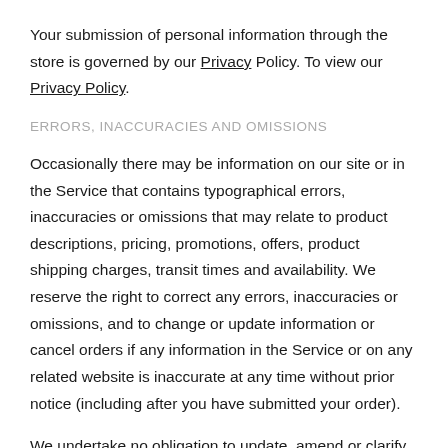Your submission of personal information through the store is governed by our Privacy Policy. To view our Privacy Policy.
ERRORS, INACCURACIES AND OMISSIONS
Occasionally there may be information on our site or in the Service that contains typographical errors, inaccuracies or omissions that may relate to product descriptions, pricing, promotions, offers, product shipping charges, transit times and availability. We reserve the right to correct any errors, inaccuracies or omissions, and to change or update information or cancel orders if any information in the Service or on any related website is inaccurate at any time without prior notice (including after you have submitted your order).
We undertake no obligation to update, amend or clarify information in the Service or on any related website